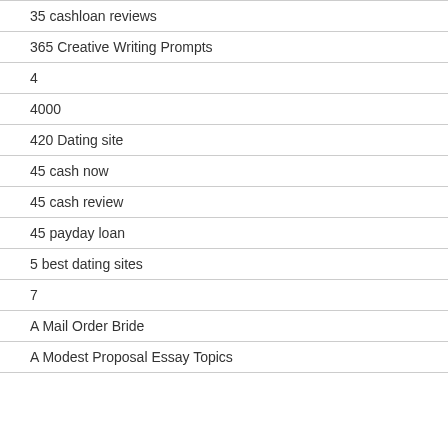35 cashloan reviews
365 Creative Writing Prompts
4
4000
420 Dating site
45 cash now
45 cash review
45 payday loan
5 best dating sites
7
A Mail Order Bride
A Modest Proposal Essay Topics